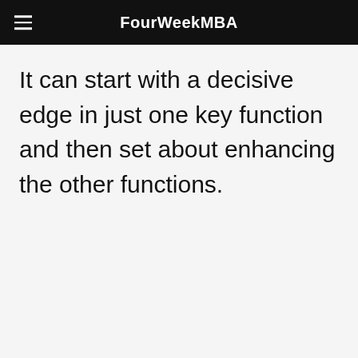FourWeekMBA
It can start with a decisive edge in just one key function and then set about enhancing the other functions.